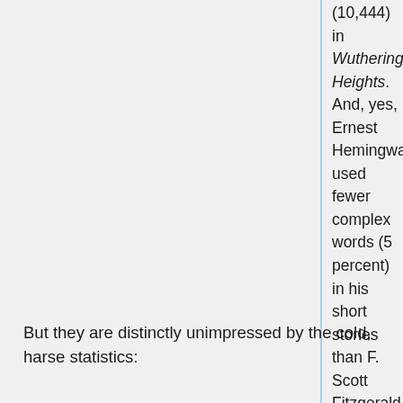(10,444) in Wuthering Heights. And, yes, Ernest Hemingway used fewer complex words (5 percent) in his short stories than F. Scott Fitzgerald (9 percent).
But they are distinctly unimpressed by the cold, harse statistics:
But in its pure form, Text Stats is a triumph of trivialization. By squeezing all the life and loveliness out of poetry and prose, the computer succeeds in numbing with numbers. It's the total disassembling of truth, beauty and the mysterious meaning of words. Except for the